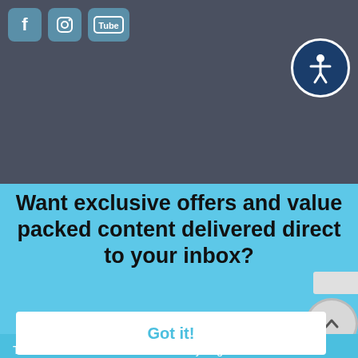[Figure (screenshot): Dark grey header bar with social media icons (Facebook, Instagram, YouTube) and an accessibility button (person icon in circle) on the right]
Want exclusive offers and value packed content delivered direct to your inbox?
This website uses cookies to ensure you get the best experience on our website. Learn more
Got it!